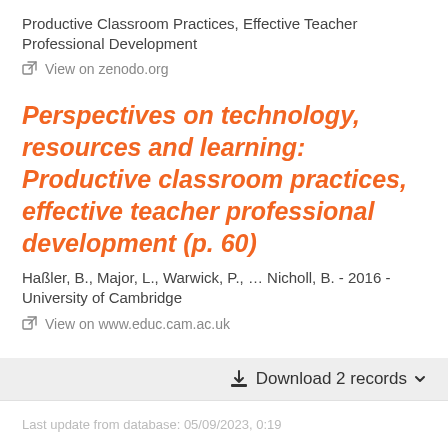Productive Classroom Practices, Effective Teacher Professional Development
View on zenodo.org
Perspectives on technology, resources and learning: Productive classroom practices, effective teacher professional development (p. 60)
Haßler, B., Major, L., Warwick, P., … Nicholl, B. - 2016 - University of Cambridge
View on www.educ.cam.ac.uk
Download 2 records
Last update from database: 05/09/2023, 0:19